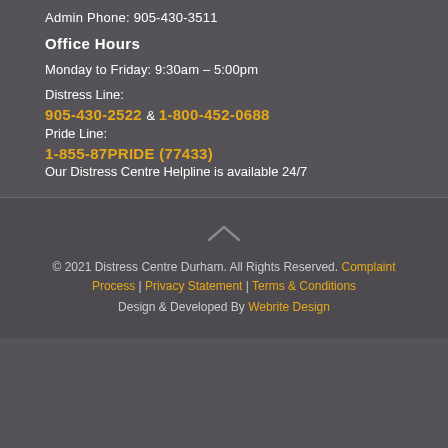Admin Phone: 905-430-3511
Office Hours
Monday to Friday: 9:30am – 5:00pm
Distress Line:
905-430-2522 & 1-800-452-0688
Pride Line:
1-855-87PRIDE (77433)
Our Distress Centre Helpline is available 24/7
© 2021 Distress Centre Durham. All Rights Reserved. Complaint Process | Privacy Statement | Terms & Conditions Design & Developed By Webrite Design